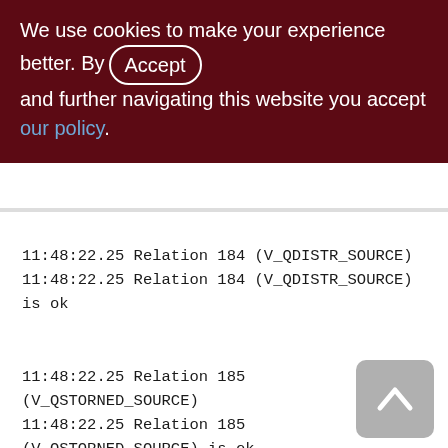We use cookies to make your experience better. By accepting and further navigating this website you accept our policy.
11:48:22.25 Relation 184 (V_QDISTR_SOURCE)
11:48:22.25 Relation 184 (V_QDISTR_SOURCE) is ok
11:48:22.25 Relation 185 (V_QSTORNED_SOURCE)
11:48:22.25 Relation 185 (V_QSTORNED_SOURCE) is ok
11:48:22.25 Relation 260 (XQD_1000_1200)
11:48:22.26 process pointer page 0 of 3